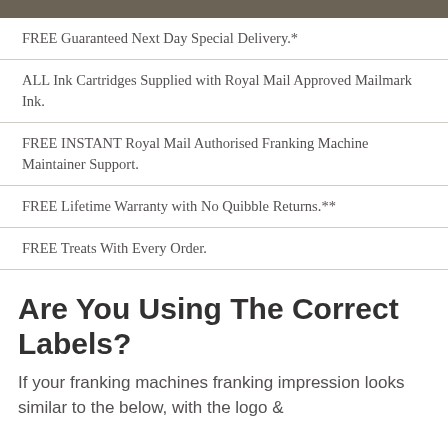FREE Guaranteed Next Day Special Delivery.*
ALL Ink Cartridges Supplied with Royal Mail Approved Mailmark Ink.
FREE INSTANT Royal Mail Authorised Franking Machine Maintainer Support.
FREE Lifetime Warranty with No Quibble Returns.**
FREE Treats With Every Order.
Are You Using The Correct Labels?
If your franking machines franking impression looks similar to the below, with the logo &